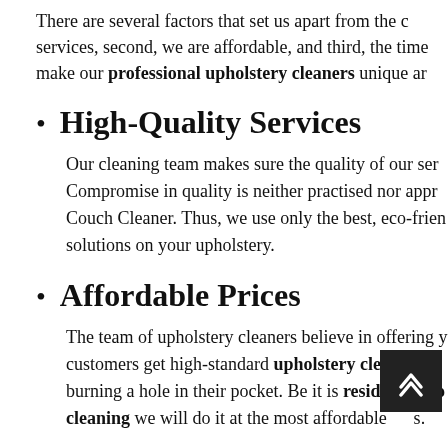There are several factors that set us apart from the competition. First, we offer high-quality services, second, we are affordable, and third, the time management, all of which make our professional upholstery cleaners unique and special.
High-Quality Services
Our cleaning team makes sure the quality of our services is unmatched. Compromise in quality is neither practised nor approved by Couch Cleaner. Thus, we use only the best, eco-friendly cleaning solutions on your upholstery.
Affordable Prices
The team of upholstery cleaners believe in offering you the best. Our customers get high-standard upholstery cleaning services without burning a hole in their pocket. Be it is residential couch cleaning we will do it at the most affordable rates.
Time Management